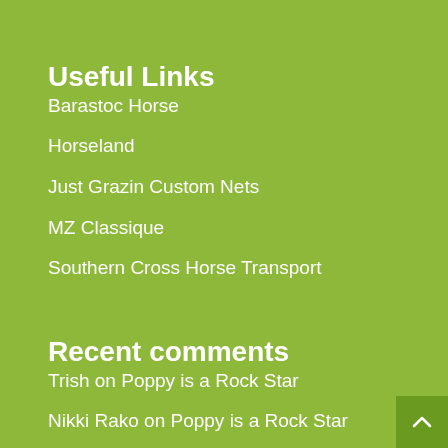Useful Links
Barastoc Horse
Horseland
Just Grazin Custom Nets
MZ Classique
Southern Cross Horse Transport
Recent comments
Trish on Poppy is a Rock Star
Nikki Rako on Poppy is a Rock Star
Trish on Hearing my Wes laugh in the distance was gold